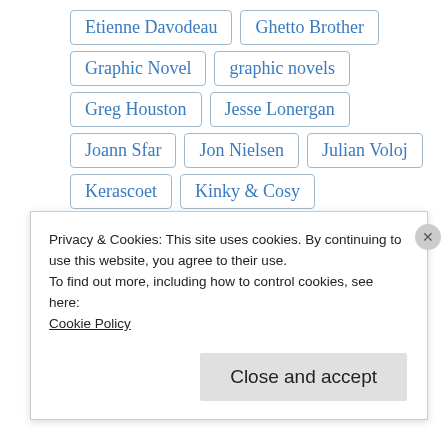Etienne Davodeau
Ghetto Brother
Graphic Novel
graphic novels
Greg Houston
Jesse Lonergan
Joann Sfar
Jon Nielsen
Julian Voloj
Kerascoet
Kinky & Cosy
Lewis Trondheim
Little Nothings
Little Nothings webcomics
LOOK
Privacy & Cookies: This site uses cookies. By continuing to use this website, you agree to their use.
To find out more, including how to control cookies, see here:
Cookie Policy
Close and accept